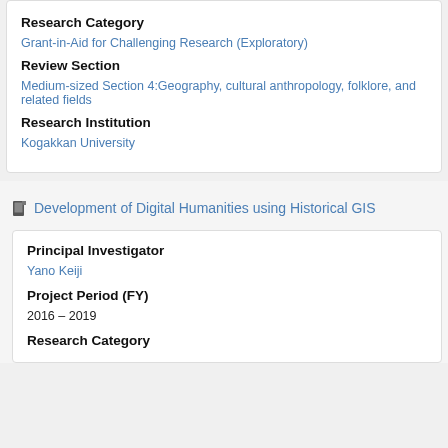Research Category
Grant-in-Aid for Challenging Research (Exploratory)
Review Section
Medium-sized Section 4:Geography, cultural anthropology, folklore, and related fields
Research Institution
Kogakkan University
Development of Digital Humanities using Historical GIS
Principal Investigator
Yano Keiji
Project Period (FY)
2016 – 2019
Research Category